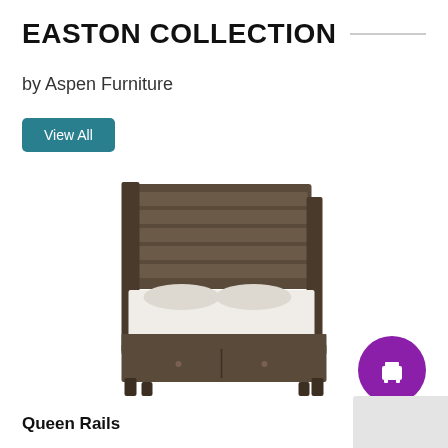EASTON COLLECTION
by Aspen Furniture
View All
[Figure (photo): Queen bed with dark brown wood frame, horizontal slat headboard, white bedding, and storage footboard drawers]
[Figure (logo): Purple circular badge with white quotation/furniture icon]
Queen Rails